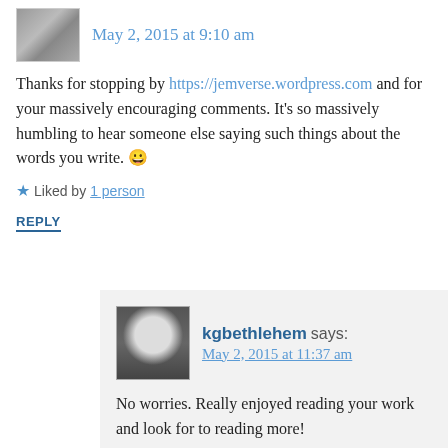[Figure (photo): Small grayscale avatar thumbnail of a person or animal, top left]
May 2, 2015 at 9:10 am
Thanks for stopping by https://jemverse.wordpress.com and for your massively encouraging comments. It's so massively humbling to hear someone else saying such things about the words you write. 😀
★ Liked by 1 person
REPLY
[Figure (photo): Grayscale avatar photo of kgbethlehem, a man wearing glasses]
kgbethlehem says:
May 2, 2015 at 11:37 am
No worries. Really enjoyed reading your work and look for to reading more!